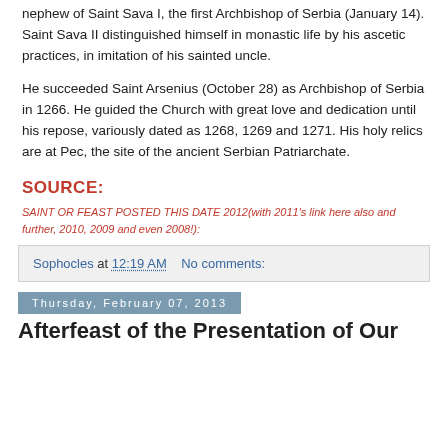nephew of Saint Sava I, the first Archbishop of Serbia (January 14). Saint Sava II distinguished himself in monastic life by his ascetic practices, in imitation of his sainted uncle.
He succeeded Saint Arsenius (October 28) as Archbishop of Serbia in 1266. He guided the Church with great love and dedication until his repose, variously dated as 1268, 1269 and 1271. His holy relics are at Pec, the site of the ancient Serbian Patriarchate.
SOURCE:
SAINT OR FEAST POSTED THIS DATE 2012(with 2011's link here also and further, 2010, 2009 and even 2008!):
Sophocles at 12:19 AM   No comments:
Thursday, February 07, 2013
Afterfeast of the Presentation of Our